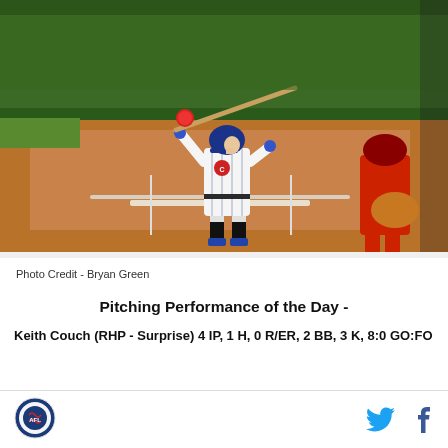[Figure (photo): Baseball batter in Chicago Cubs blue pinstripe uniform and blue helmet mid-swing at home plate, with a catcher in red visible on the right side, at a minor league baseball stadium with green outfield wall in background]
Photo Credit - Bryan Green
Pitching Performance of the Day -
Keith Couch (RHP - Surprise) 4 IP, 1 H, 0 R/ER, 2 BB, 3 K, 8:0 GO:FO
[Figure (logo): Arizona Fall League or minor league baseball circular logo]
[Figure (other): Twitter bird icon and Facebook f icon social media share buttons]